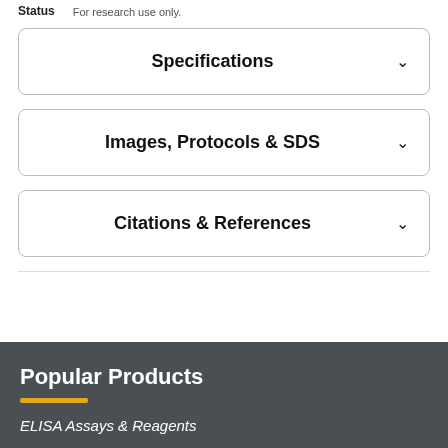Status  For research use only.
Specifications
Images, Protocols & SDS
Citations & References
Popular Products
ELISA Assays & Reagents